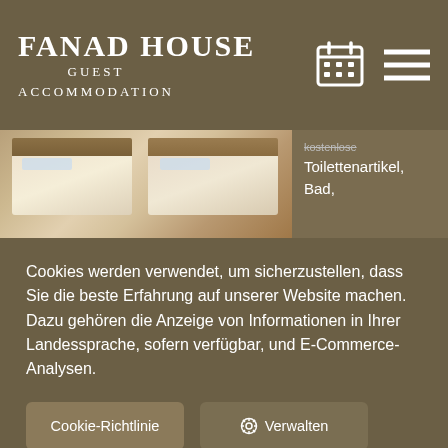FANAD HOUSE GUEST ACCOMMODATION
[Figure (screenshot): Hotel room image strip showing beds with white linens and wooden headboard, partially visible. To the right, text reads 'kostenlose Toilettenartikel, Bad,']
Cookies werden verwendet, um sicherzustellen, dass Sie die beste Erfahrung auf unserer Website machen. Dazu gehören die Anzeige von Informationen in Ihrer Landessprache, sofern verfügbar, und E-Commerce-Analysen.
Cookie-Richtlinie
⚙ Verwalten
Cookies zulassen